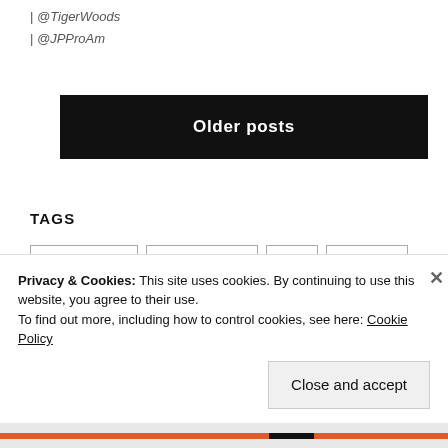| @TigerWoods
| @JPProAm
Older posts
TAGS
core stability
core strength
diet
exercise
fitness
Fitnessaware
health
Privacy & Cookies: This site uses cookies. By continuing to use this website, you agree to their use.
To find out more, including how to control cookies, see here: Cookie Policy
Close and accept